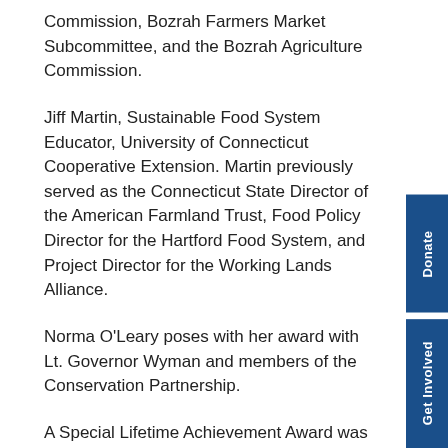Commission, Bozrah Farmers Market Subcommittee, and the Bozrah Agriculture Commission.
Jiff Martin, Sustainable Food System Educator, University of Connecticut Cooperative Extension. Martin previously served as the Connecticut State Director of the American Farmland Trust, Food Policy Director for the Hartford Food System, and Project Director for the Working Lands Alliance.
Norma O'Leary poses with her award with Lt. Governor Wyman and members of the Conservation Partnership.
A Special Lifetime Achievement Award was presented to Norma O'Leary who has devoted her life...